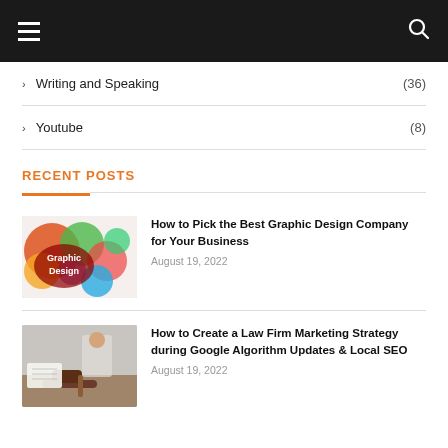≡  🔍
Writing and Speaking (36)
Youtube (8)
RECENT POSTS
[Figure (photo): Colorful graphic design splash art with text 'Graphic Design']
How to Pick the Best Graphic Design Company for Your Business
August 19, 2022
[Figure (photo): Photo of a person writing at a desk with a gavel in the foreground]
How to Create a Law Firm Marketing Strategy during Google Algorithm Updates & Local SEO
August 19, 2022